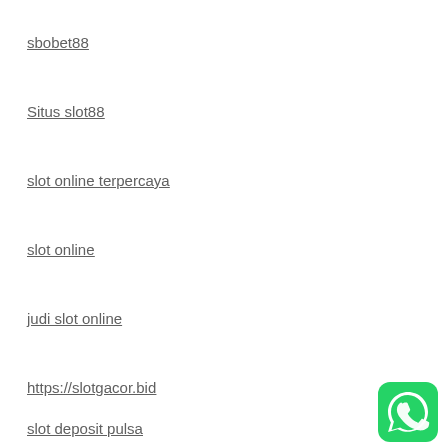sbobet88
Situs slot88
slot online terpercaya
slot online
judi slot online
https://slotgacor.bid
slot deposit pulsa
[Figure (illustration): WhatsApp messenger icon — green rounded square with white phone handset in speech bubble]